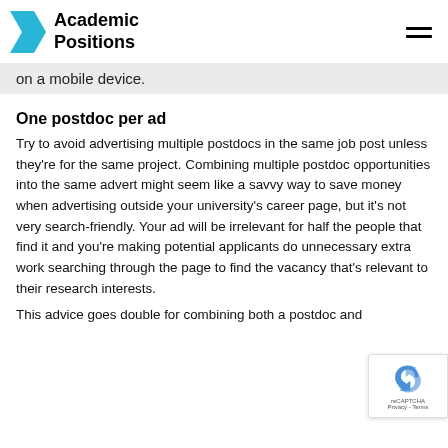Academic Positions
on a mobile device.
One postdoc per ad
Try to avoid advertising multiple postdocs in the same job post unless they're for the same project. Combining multiple postdoc opportunities into the same advert might seem like a savvy way to save money when advertising outside your university's career page, but it's not very search-friendly. Your ad will be irrelevant for half the people that find it and you're making potential applicants do unnecessary extra work searching through the page to find the vacancy that's relevant to their research interests.
This advice goes double for combining both a postdoc and